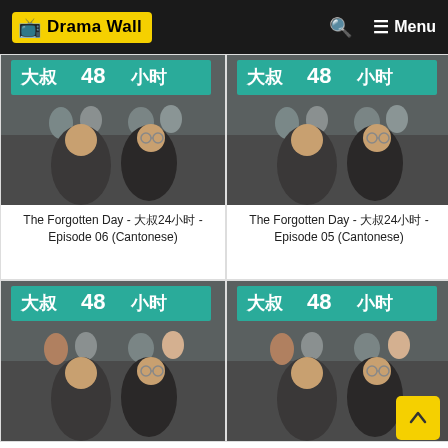Drama Wall — Menu
[Figure (screenshot): Thumbnail image for The Forgotten Day Episode 06 Cantonese — two men in foreground with crowd behind, Chinese signage visible]
The Forgotten Day - 大叔24小时 - Episode 06 (Cantonese)
[Figure (screenshot): Thumbnail image for The Forgotten Day Episode 05 Cantonese — same scene, two men in foreground with crowd behind, Chinese signage visible]
The Forgotten Day - 大叔24小时 - Episode 05 (Cantonese)
[Figure (screenshot): Thumbnail image for another episode — same scene style, partially cut off]
[Figure (screenshot): Thumbnail image for another episode — same scene style, partially cut off]